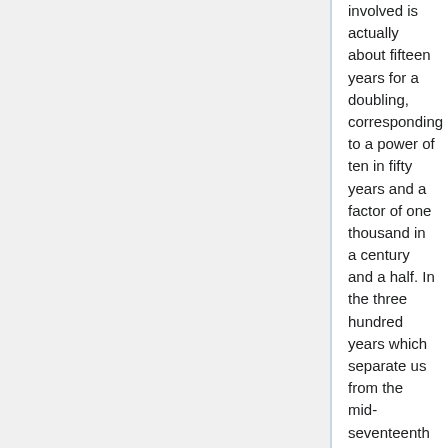involved is actually about fifteen years for a doubling, corresponding to a power of ten in fifty years and a factor of one thousand in a century and a half. In the three hundred years which separate us from the mid-seventeenth century, this represents a factor of one million."
At p. 12, I say that the custom for scholars to write articles for impact rather than money "is a payment structure we need for good research itself, not just for good access to that research." Add these notes.
See David William Hedding, Payouts push professors towards predatory journals, Nature News, January 15, 2019. "